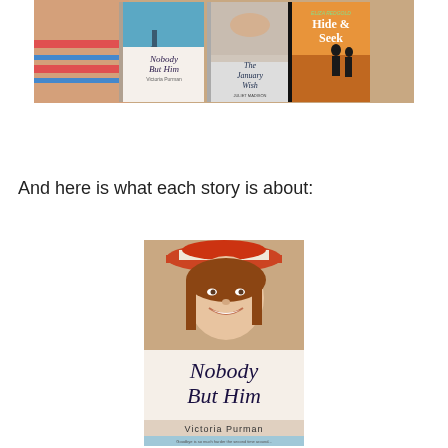[Figure (photo): Photo of three book covers: 'Nobody But Him' by Victoria Purman, 'The January Wish', and 'Hide & Seek' by Eliza Redgold, displayed on a striped beach towel with a hand holding them]
And here is what each story is about:
[Figure (photo): Book cover of 'Nobody But Him' by Victoria Purman, showing a smiling woman wearing a sun hat, with script title and tagline text at the bottom]